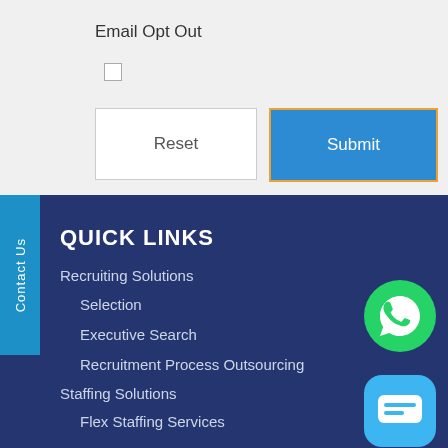Email Opt Out
[Figure (screenshot): Checkbox (unchecked) for Email Opt Out]
[Figure (screenshot): Reset and Submit buttons]
Contact Us (vertical tab on left side)
QUICK LINKS
Recruiting Solutions
Selection
Executive Search
Recruitment Process Outsourcing
Staffing Solutions
Flex Staffing Services
[Figure (logo): WhatsApp icon - green circle with phone handset]
[Figure (logo): Chat icon - blue rounded square with speech bubble]